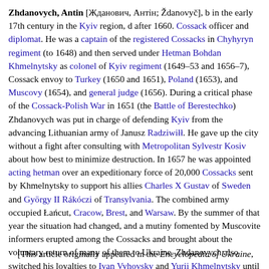Zhdanovych, Antin [Жданович, Антін; Ždanovyč], b in the early 17th century in the Kyiv region, d after 1660. Cossack officer and diplomat. He was a captain of the registered Cossacks in Chyhyryn regiment (to 1648) and then served under Hetman Bohdan Khmelnytsky as colonel of Kyiv regiment (1649–53 and 1656–7), Cossack envoy to Turkey (1650 and 1651), Poland (1653), and Muscovy (1654), and general judge (1656). During a critical phase of the Cossack-Polish War in 1651 (the Battle of Berestechko) Zhdanovych was put in charge of defending Kyiv from the advancing Lithuanian army of Janusz Radziwiłł. He gave up the city without a fight after consulting with Metropolitan Sylvestr Kosiv about how best to minimize destruction. In 1657 he was appointed acting hetman over an expeditionary force of 20,000 Cossacks sent by Khmelnytsky to support his allies Charles X Gustav of Sweden and György II Rákóczi of Transylvania. The combined army occupied Łańcut, Cracow, Brest, and Warsaw. By the summer of that year the situation had changed, and a mutiny fomented by Muscovite informers erupted among the Cossacks and brought about the voluntary return of many of them to Ukraine. Zhdanovych also switched his loyalties to Ivan Vyhovsky and Yurii Khmelnytsky until 1659, when Muscovite pressure on the Cossack leadership forced his abdication.
[This article originally appeared in the Encyclopedia of Ukraine,